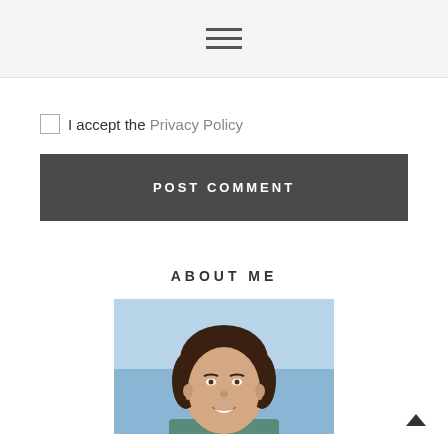☰
I accept the Privacy Policy
POST COMMENT
ABOUT ME
[Figure (photo): Headshot of a smiling young woman with dark hair, outdoors with a light blue sky/water background]